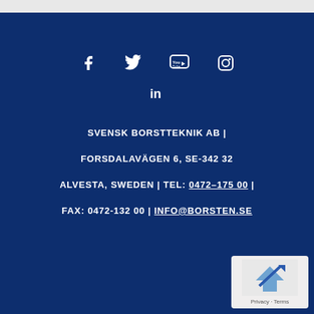[Figure (infographic): Social media icons row: Facebook, Twitter, YouTube, Instagram; second row: LinkedIn]
SVENSK BORSTTEKNIK AB |
FORSDALAVÄGEN 6, SE-342 32
ALVESTA, SWEDEN | TEL: 0472–175 00 |
FAX: 0472-132 00 | INFO@BORSTEN.SE
[Figure (logo): Google Maps / reCAPTCHA badge with Privacy and Terms links]